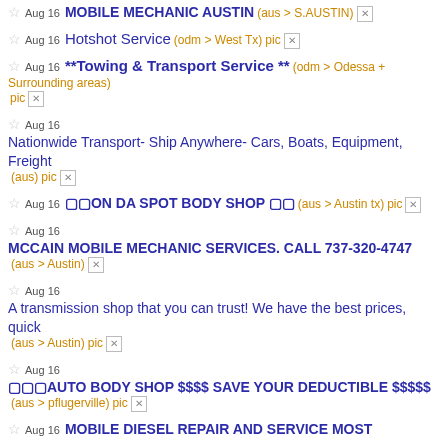Aug 16 MOBILE MECHANIC AUSTIN (aus > S.AUSTIN)
Aug 16 Hotshot Service (odm > West Tx) pic
Aug 16 **Towing & Transport Service ** (odm > Odessa + Surrounding areas) pic
Aug 16 Nationwide Transport- Ship Anywhere- Cars, Boats, Equipment, Freight (aus) pic
Aug 16 🔲🔲ON DA SPOT BODY SHOP 🔲🔲 (aus > Austin tx) pic
Aug 16 MCCAIN MOBILE MECHANIC SERVICES. CALL 737-320-4747 (aus > Austin)
Aug 16 A transmission shop that you can trust! We have the best prices, quick (aus > Austin) pic
Aug 16 🔲🔲🔲AUTO BODY SHOP $$$$ Save Your Deductible $$$$$ (aus > pflugerville) pic
Aug 16 MOBILE DIESEL REPAIR AND SERVICE MOST